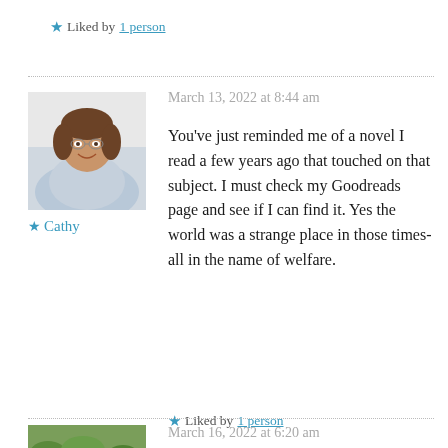★ Liked by 1 person
March 13, 2022 at 8:44 am
[Figure (photo): Portrait photo of a woman with short brown hair, wearing a light blue/gray blanket or wrap, seated indoors.]
★ Cathy
You've just reminded me of a novel I read a few years ago that touched on that subject. I must check my Goodreads page and see if I can find it. Yes the world was a strange place in those times- all in the name of welfare.
★ Liked by 1 person
March 16, 2022 at 6:20 am
[Figure (photo): Landscape/outdoor photo, partial view, showing greenery.]